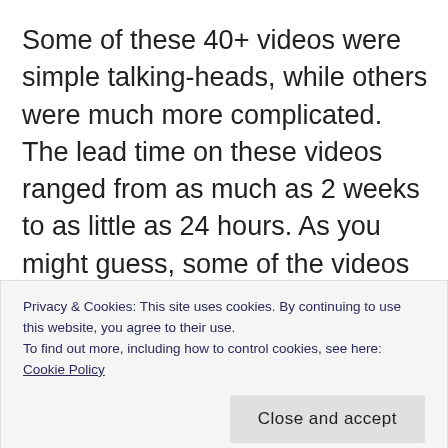Some of these 40+ videos were simple talking-heads, while others were much more complicated. The lead time on these videos ranged from as much as 2 weeks to as little as 24 hours. As you might guess, some of the videos weren't as high quality as they might have been, and a few leaders on the staff
Privacy & Cookies: This site uses cookies. By continuing to use this website, you agree to their use.
To find out more, including how to control cookies, see here: Cookie Policy
a pace that was sustainable